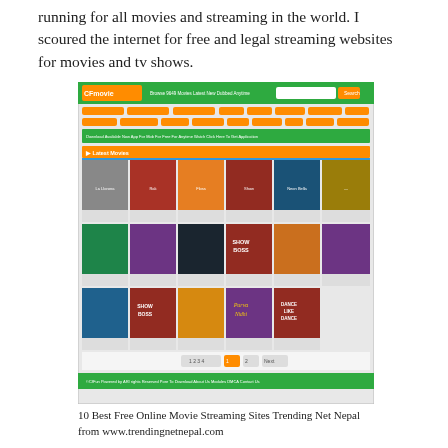running for all movies and streaming in the world. I scoured the internet for free and legal streaming websites for movies and tv shows.
[Figure (screenshot): Screenshot of a movie streaming website (CFmovie) showing a green header with navigation, orange category buttons, and a grid of movie poster thumbnails including Show Boss, La Llorona, and other titles.]
10 Best Free Online Movie Streaming Sites Trending Net Nepal from www.trendingnetnepal.com